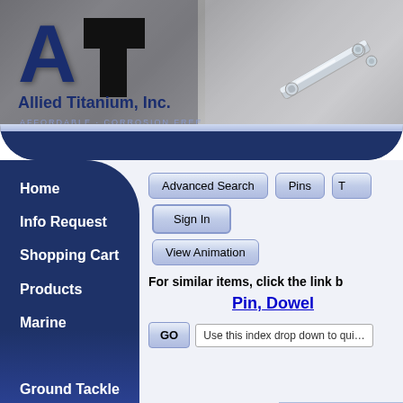[Figure (screenshot): Allied Titanium, Inc. website header banner with logo (AT letters), company name, and titanium hardware photo background]
Home
Info Request
Shopping Cart
Products
Marine
Ground Tackle
Advanced Search
Pins
Sign In
View Animation
For similar items, click the link b
Pin, Dowel
GO
Use this index drop down to quickly find